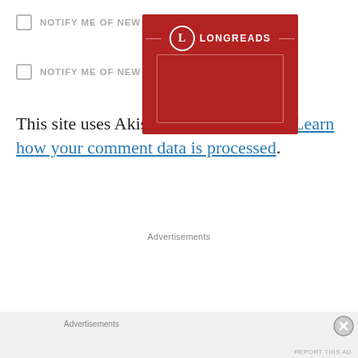NOTIFY ME OF NEW COMMENTS VIA EMAIL.
NOTIFY ME OF NEW POSTS VIA EMAIL.
This site uses Akismet to reduce spam. Learn how your comment data is processed.
Advertisements
[Figure (illustration): Longreads advertisement banner — red background with Longreads logo (circle with L) and brand name in white text, with decorative rectangular border inset.]
Advertisements